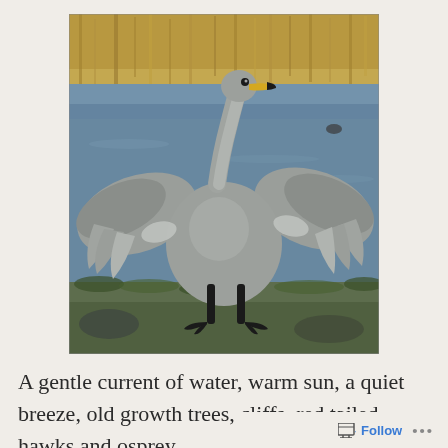[Figure (photo): A large grey swan or juvenile whooper swan standing on a riverbank with wings spread wide, facing the camera. Yellow and black bill visible. Background shows water, golden reeds, and a sunny day. Green grass beneath the bird's black feet.]
A gentle current of water, warm sun, a quiet breeze, old growth trees, cliffs, red tailed hawks and osprey
Follow ...